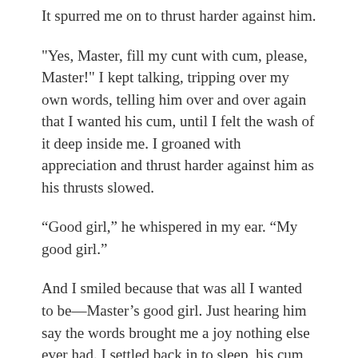It spurred me on to thrust harder against him.
"Yes, Master, fill my cunt with cum, please, Master!" I kept talking, tripping over my own words, telling him over and over again that I wanted his cum, until I felt the wash of it deep inside me. I groaned with appreciation and thrust harder against him as his thrusts slowed.
“Good girl,” he whispered in my ear. “My good girl.”
And I smiled because that was all I wanted to be—Master’s good girl. Just hearing him say the words brought me a joy nothing else ever had. I settled back in to sleep, his cum slowly dripping out of me and down my thighs. I drifted back to sleep, his body